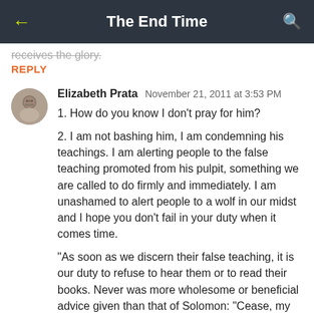The End Time
receives the glory.
REPLY
Elizabeth Prata  November 21, 2011 at 3:53 PM
1. How do you know I don't pray for him?
2. I am not bashing him, I am condemning his teachings. I am alerting people to the false teaching promoted from his pulpit, something we are called to do firmly and immediately. I am unashamed to alert people to a wolf in our midst and I hope you don't fail in your duty when it comes time.
"As soon as we discern their false teaching, it is our duty to refuse to hear them or to read their books. Never was more wholesome or beneficial advice given than that of Solomon: "Cease, my son, to hear the instruction that causes to err from the words of knowledge"